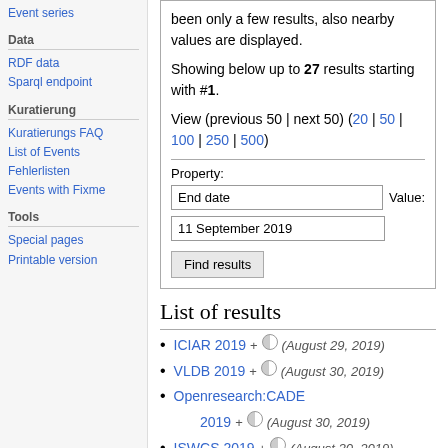Event series
Data
RDF data
Sparql endpoint
Kuratierung
Kuratierungs FAQ
List of Events
Fehlerlisten
Events with Fixme
Tools
Special pages
Printable version
been only a few results, also nearby values are displayed. Showing below up to 27 results starting with #1. View (previous 50 | next 50) (20 | 50 | 100 | 250 | 500)
Property: End date   Value: 11 September 2019   Find results
List of results
ICIAR 2019 + ⊙ (August 29, 2019)
VLDB 2019 + ⊙ (August 30, 2019)
Openresearch:CADE 2019 + ⊙ (August 30, 2019)
ISWCS 2019 + ⊙ (August 30, 2019)
Euro-Par 2019 + ⊙ (August 30, 2019)